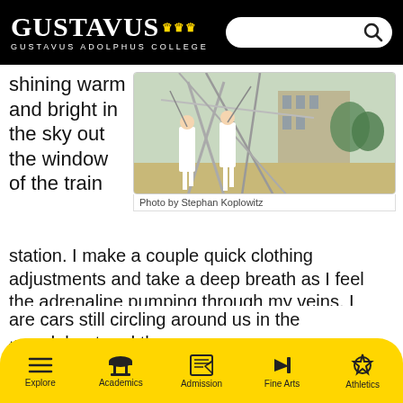GUSTAVUS ADOLPHUS COLLEGE
shining warm and bright in the sky out the window of the train
[Figure (photo): Performers in white clothing interacting with a large metal sculpture outdoors near a building]
Photo by Stephan Koplowitz
station. I make a couple quick clothing adjustments and take a deep breath as I feel the adrenaline pumping through my veins. I emerge from the station with six others to cross the street and get into position, melding our bodies with the metal sculpture above and around us. We wait, though this doesn't feel like a typical
are cars still circling around us in the roundabout and the
Explore | Academics | Admission | Fine Arts | Athletics